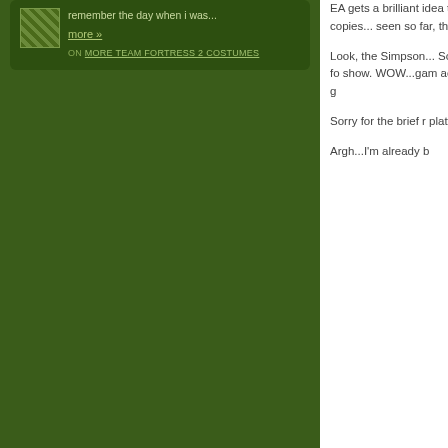remember the day when i was...
more »
ON MORE TEAM FORTRESS 2 COSTUMES
EA gets a brilliant idea to sell tons of copies... seen so far, they de
Look, the Simpson... So, I would hope fo show.  WOW...gam action adventure g
Sorry for the brief r platformer.  Go ma
Argh...I'm already b